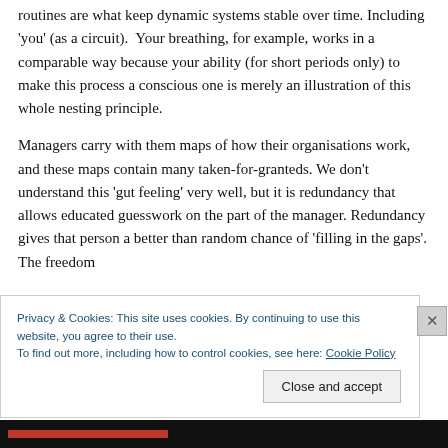routines are what keep dynamic systems stable over time. Including 'you' (as a circuit). Your breathing, for example, works in a comparable way because your ability (for short periods only) to make this process a conscious one is merely an illustration of this whole nesting principle.
Managers carry with them maps of how their organisations work, and these maps contain many taken-for-granteds. We don't understand this 'gut feeling' very well, but it is redundancy that allows educated guesswork on the part of the manager. Redundancy gives that person a better than random chance of 'filling in the gaps'. The freedom
Privacy & Cookies: This site uses cookies. By continuing to use this website, you agree to their use.
To find out more, including how to control cookies, see here: Cookie Policy